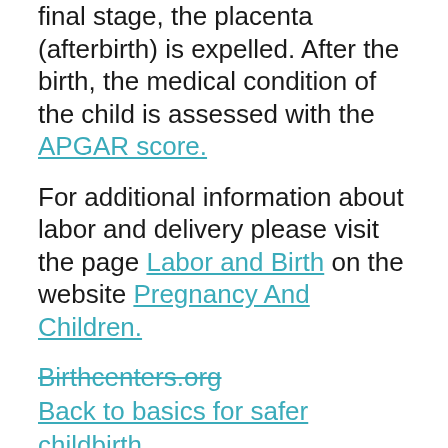final stage, the placenta (afterbirth) is expelled. After the birth, the medical condition of the child is assessed with the APGAR score.
For additional information about labor and delivery please visit the page Labor and Birth on the website Pregnancy And Children.
Birthcenters.org
Back to basics for safer childbirth
March of Dimes: What to take to the hospital
What is Involved by Inducing